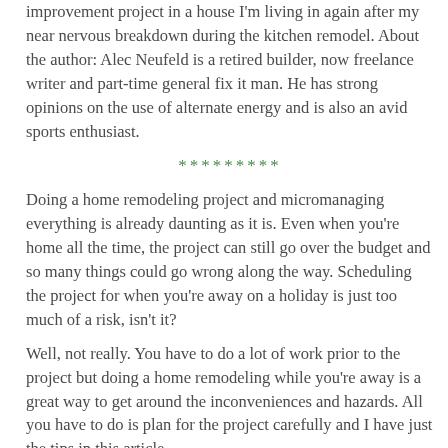improvement project in a house I'm living in again after my near nervous breakdown during the kitchen remodel. About the author: Alec Neufeld is a retired builder, now freelance writer and part-time general fix it man. He has strong opinions on the use of alternate energy and is also an avid sports enthusiast.
*********
Doing a home remodeling project and micromanaging everything is already daunting as it is. Even when you're home all the time, the project can still go over the budget and so many things could go wrong along the way. Scheduling the project for when you're away on a holiday is just too much of a risk, isn't it?
Well, not really. You have to do a lot of work prior to the project but doing a home remodeling while you're away is a great way to get around the inconveniences and hazards. All you have to do is plan for the project carefully and I have just the tips in this article.
Do a Lot of Research
By a lot of research, I mean A LOT of research. Thankfully, you now have the internet on your side. Searching for the most credible contractor to hire, the right parts and appliances to buy, and